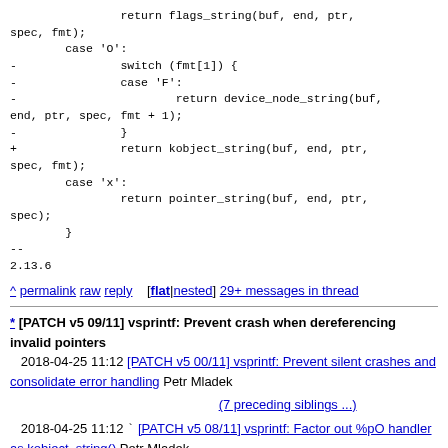return flags_string(buf, end, ptr, spec, fmt);
        case 'O':
-               switch (fmt[1]) {
-               case 'F':
-                       return device_node_string(buf, end, ptr, spec, fmt + 1);
-               }
+               return kobject_string(buf, end, ptr, spec, fmt);
        case 'x':
                return pointer_string(buf, end, ptr, spec);
        }
--
2.13.6
^ permalink raw reply [flat|nested] 29+ messages in thread
* [PATCH v5 09/11] vsprintf: Prevent crash when dereferencing invalid pointers
2018-04-25 11:12 [PATCH v5 00/11] vsprintf: Prevent silent crashes and consolidate error handling Petr Mladek
(7 preceding siblings ...)
2018-04-25 11:12 ` [PATCH v5 08/11] vsprintf: Factor out %pO handler as kobject_string() Petr Mladek
@ 2018-04-25 11:12 ` Petr Mladek